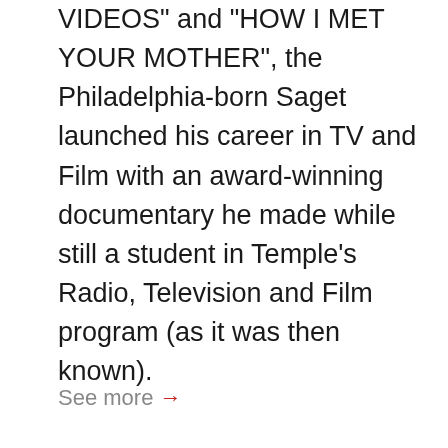VIDEOS" and "HOW I MET YOUR MOTHER", the Philadelphia-born Saget launched his career in TV and Film with an award-winning documentary he made while still a student in Temple's Radio, Television and Film program (as it was then known).
See more →
[Figure (photo): Photo of a woman with dark hair pulled back, wearing earrings. In the upper left of the image is a circular logo reading 'FILMMAKERS FIRST' with a film reel icon. An 'ALUMNI' badge in red and white is overlaid in the upper right corner.]